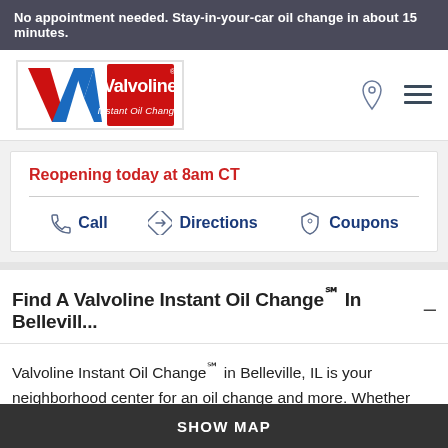No appointment needed. Stay-in-your-car oil change in about 15 minutes.
[Figure (logo): Valvoline Instant Oil Change logo with red V chevron and blue W shapes, red box with white Valvoline text and tagline Instant Oil Change.]
Reopening today at 8am CT
Call
Directions
Coupons
Find A Valvoline Instant Oil Change℠ In Bellevill... –
Valvoline Instant Oil Change℠ in Belleville, IL is your neighborhood center for an oil change and more. Whether you live and work in Belleville, we have a service center near you. Take care of your
SHOW MAP